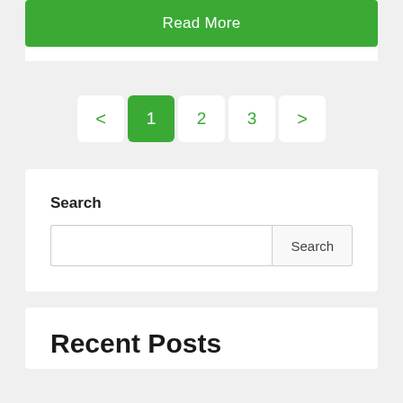Read More
< 1 2 3 >
Search
Search
Recent Posts